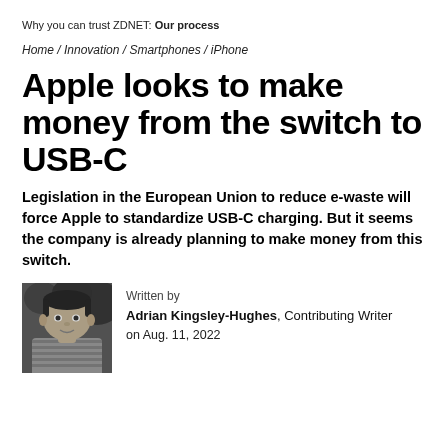Why you can trust ZDNET: Our process
Home / Innovation / Smartphones / iPhone
Apple looks to make money from the switch to USB-C
Legislation in the European Union to reduce e-waste will force Apple to standardize USB-C charging. But it seems the company is already planning to make money from this switch.
[Figure (photo): Black and white headshot photo of Adrian Kingsley-Hughes, a man wearing a striped shirt]
Written by
Adrian Kingsley-Hughes, Contributing Writer
on Aug. 11, 2022